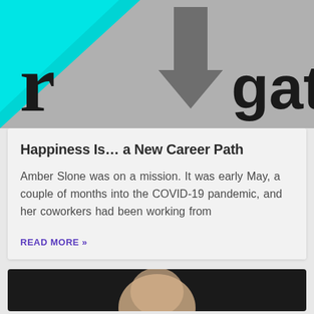[Figure (illustration): Partial view of a logo/banner with cyan/teal triangle shape on left with letter 'r', gray arrow pointing down in center, and text 'gat' visible on right side on gray background]
Happiness Is… a New Career Path
Amber Slone was on a mission. It was early May, a couple of months into the COVID-19 pandemic, and her coworkers had been working from
READ MORE »
[Figure (photo): Partial view of a person's face/head, dark background, cropped at bottom of page]